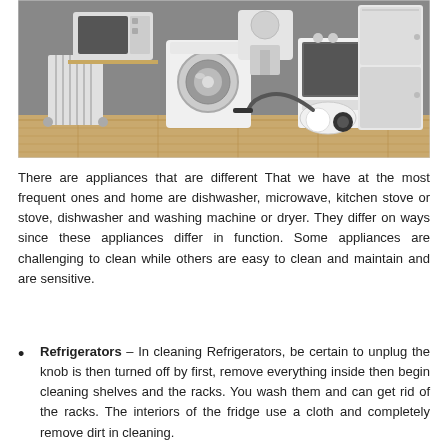[Figure (photo): A collection of household appliances arranged on a wooden floor against a grey wall, including a microwave, oil heater, washing machine, stand mixer, kitchen stove/oven, refrigerator, and vacuum cleaner.]
There are appliances that are different That we have at the most frequent ones and home are dishwasher, microwave, kitchen stove or stove, dishwasher and washing machine or dryer. They differ on ways since these appliances differ in function. Some appliances are challenging to clean while others are easy to clean and maintain and are sensitive.
Refrigerators – In cleaning Refrigerators, be certain to unplug the knob is then turned off by first, remove everything inside then begin cleaning shelves and the racks. You wash them and can get rid of the racks. The interiors of the fridge use a cloth and completely remove dirt in cleaning.
Washer or drier – Use soap. And use a cloth to clean and